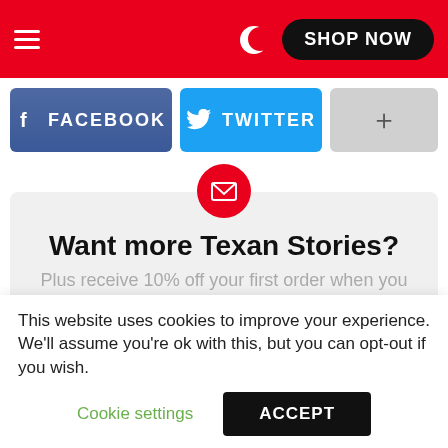[Figure (screenshot): Red navigation bar with hamburger menu, moon/dark mode icon, and SHOP NOW button]
[Figure (screenshot): Social media buttons: FACEBOOK (blue), TWITTER (light blue), and plus button (gray)]
Want more Texan Stories?
Plus receive 10% off your first order when you sign up!
Email Address:
Your email address
This website uses cookies to improve your experience. We'll assume you're ok with this, but you can opt-out if you wish.
Cookie settings
ACCEPT